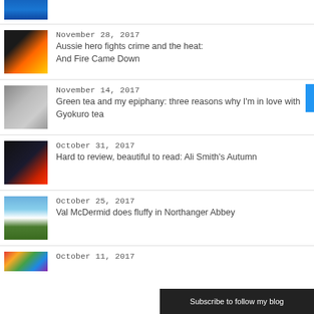[Figure (photo): Blue water/ocean photo thumbnail at top]
November 28, 2017
Aussie hero fights crime and the heat: And Fire Came Down
November 14, 2017
Green tea and my epiphany: three reasons why I'm in love with Gyokuro tea
October 31, 2017
Hard to review, beautiful to read: Ali Smith's Autumn
October 25, 2017
Val McDermid does fluffy in Northanger Abbey
October 11, 2017
Subscribe to follow my blog